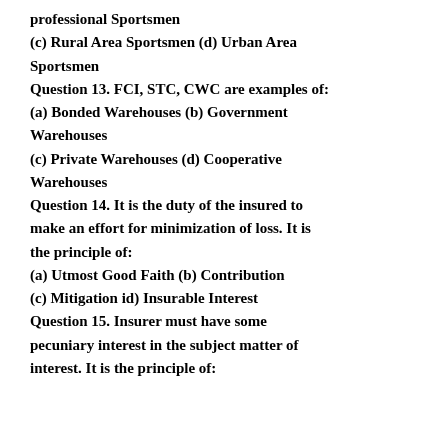professional Sportsmen
(c) Rural Area Sportsmen (d) Urban Area Sportsmen
Question 13. FCI, STC, CWC are examples of:
(a) Bonded Warehouses (b) Government Warehouses
(c) Private Warehouses (d) Cooperative Warehouses
Question 14. It is the duty of the insured to make an effort for minimization of loss. It is the principle of:
(a) Utmost Good Faith (b) Contribution
(c) Mitigation id) Insurable Interest
Question 15. Insurer must have some pecuniary interest in the subject matter of interest. It is the principle of: